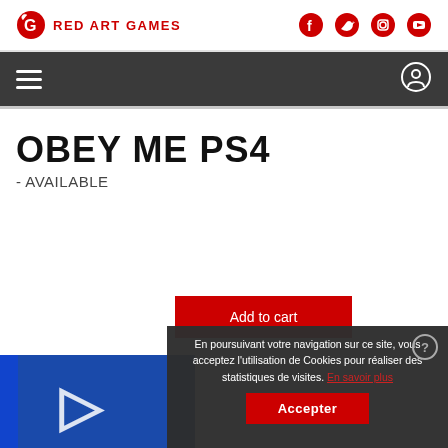[Figure (logo): Red Art Games logo with circular G icon in red and red uppercase text]
[Figure (infographic): Social media icons: Facebook, Twitter, Instagram, YouTube in red]
[Figure (infographic): Dark navigation bar with hamburger menu icon on left and account/user icon on right]
OBEY ME PS4
- AVAILABLE
Add to cart
En poursuivant votre navigation sur ce site, vous acceptez l'utilisation de Cookies pour réaliser des statistiques de visites. En savoir plus
Accepter